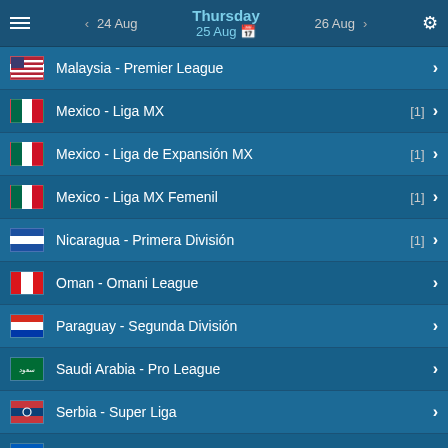Thursday 25 Aug | < 24 Aug | 26 Aug >
Malaysia - Premier League
Mexico - Liga MX [1]
Mexico - Liga de Expansión MX [1]
Mexico - Liga MX Femenil [1]
Nicaragua - Primera División [1]
Oman - Omani League
Paraguay - Segunda División
Saudi Arabia - Pro League
Serbia - Super Liga
Ukraine - Premier League
United States - USL Championship [1]